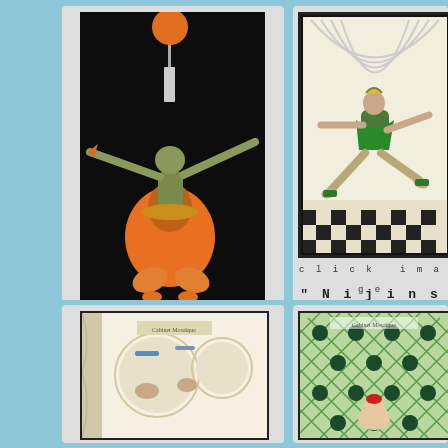[Figure (illustration): Nijinsky #5 dance illustration - figure in orange costume on black background, arms raised]
click image for display page
"Nijinsky #5"
Pochoir
Sold
[Figure (illustration): Nijinsky illustration - figure in green costume leaping on checkered floor background]
click image display pa...
"Nijinsky #..."
Pochoir
Sold
[Figure (illustration): Bottom left art print illustration - partial view]
[Figure (illustration): Bottom right art print illustration - colorful trellis pattern with figure]